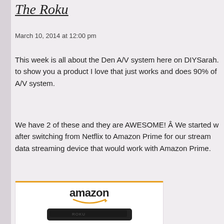The Roku
March 10, 2014 at 12:00 pm
This week is all about the Den A/V system here on DIYSarah. to show you a product I love that just works and does 90% of A/V system.
We have 2 of these and they are AWESOME! Â We started w after switching from Netflix to Amazon Prime for our stream data streaming device that would work with Amazon Prime.
[Figure (other): Amazon product listing card showing amazon logo with smile and a Roku streaming device (black rectangular device)]